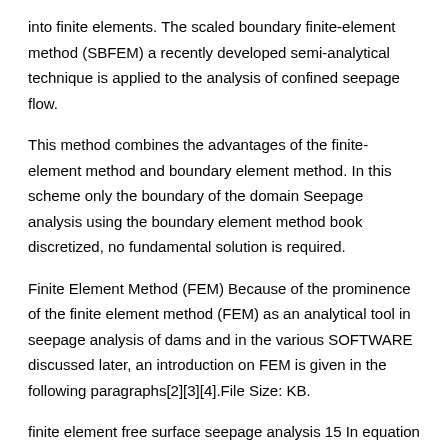into finite elements. The scaled boundary finite-element method (SBFEM) a recently developed semi-analytical technique is applied to the analysis of confined seepage flow.
This method combines the advantages of the finite-element method and boundary element method. In this scheme only the boundary of the domain Seepage analysis using the boundary element method book discretized, no fundamental solution is required.
Finite Element Method (FEM) Because of the prominence of the finite element method (FEM) as an analytical tool in seepage analysis of dams and in the various SOFTWARE discussed later, an introduction on FEM is given in the following paragraphs[2][3][4].File Size: KB.
finite element free surface seepage analysis 15 In equation (2) p is the fluid pressure, y is the unit weight of fluid and z is the elevation at the point under consideration. From the beginning, the emphasis is on the implementation of the method into computer programs which can be used to solve real problems.
The boundary element method of the confined and free surface seepage...